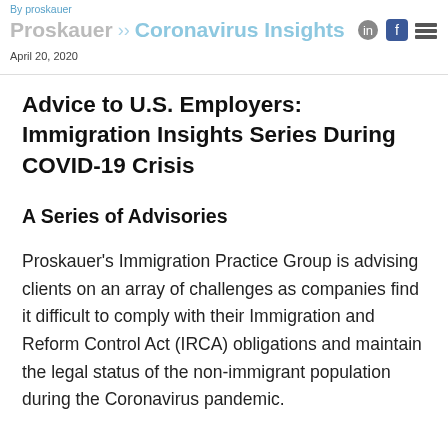By proskauer | Proskauer >> Coronavirus Insights | April 20, 2020
Advice to U.S. Employers: Immigration Insights Series During COVID-19 Crisis
A Series of Advisories
Proskauer's Immigration Practice Group is advising clients on an array of challenges as companies find it difficult to comply with their Immigration and Reform Control Act (IRCA) obligations and maintain the legal status of the non-immigrant population during the Coronavirus pandemic.